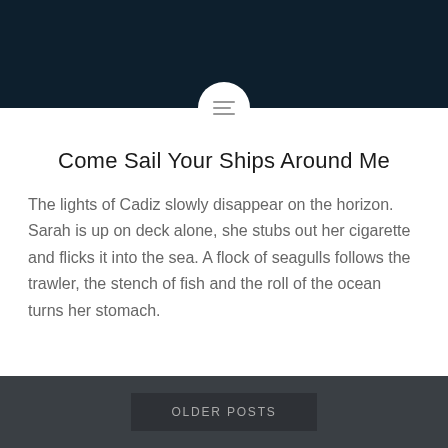[Figure (illustration): Dark navy header background with a white circular icon containing three horizontal lines (hamburger/text icon)]
Come Sail Your Ships Around Me
The lights of Cadiz slowly disappear on the horizon. Sarah is up on deck alone, she stubs out her cigarette and flicks it into the sea. A flock of seagulls follows the trawler, the stench of fish and the roll of the ocean turns her stomach.
OLDER POSTS